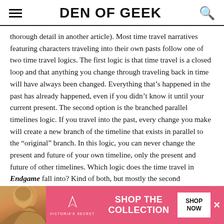DEN OF GEEK
thorough detail in another article). Most time travel narratives featuring characters traveling into their own pasts follow one of two time travel logics. The first logic is that time travel is a closed loop and that anything you change through traveling back in time will have always been changed. Everything that’s happened in the past has already happened, even if you didn’t know it until your current present. The second option is the branched parallel timelines logic. If you travel into the past, every change you make will create a new branch of the timeline that exists in parallel to the “original” branch. In this logic, you can never change the present and future of your own timeline, only the present and future of other timelines. Which logic does the time travel in Endgame fall into? Kind of both, but mostly the second
[Figure (advertisement): Victoria's Secret advertisement banner with model photo, VS logo, 'Shop The Collection' text, and 'Shop Now' button]